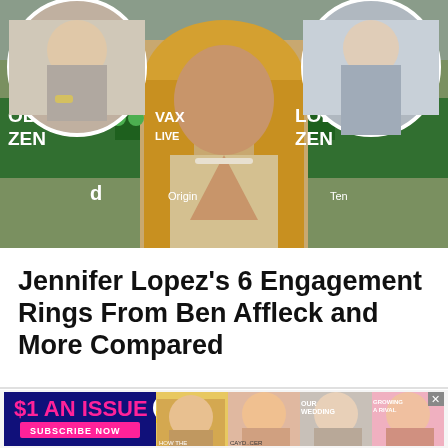[Figure (photo): Main photo of Jennifer Lopez at red carpet event with Global Citizen banners in background; two smaller circular inset photos (left: person with bracelets, right: person in grey sweatshirt) overlaid at top corners]
Jennifer Lopez's 6 Engagement Rings From Ben Affleck and More Compared
[Figure (infographic): Advertisement banner: '$1 AN ISSUE' in pink text on dark blue background with 'SUBSCRIBE NOW' pink button, US Weekly logo, and four magazine cover thumbnail photos]